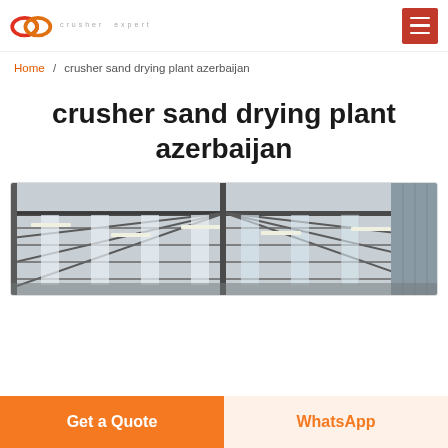crusher expert
Home / crusher sand drying plant azerbaijan
crusher sand drying plant azerbaijan
[Figure (photo): Interior of a large industrial steel-frame factory building showing roof trusses with fluorescent lighting strips and corrugated metal roof panels]
Get a Quote
WhatsApp